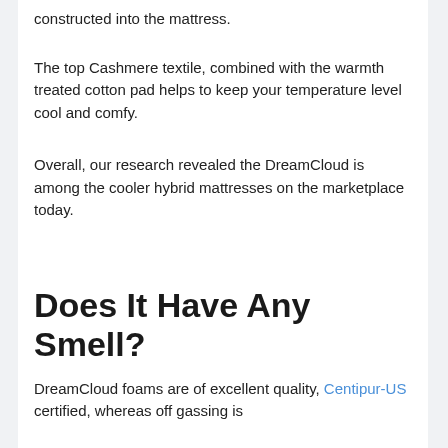constructed into the mattress.
The top Cashmere textile, combined with the warmth treated cotton pad helps to keep your temperature level cool and comfy.
Overall, our research revealed the DreamCloud is among the cooler hybrid mattresses on the marketplace today.
Does It Have Any Smell?
DreamCloud foams are of excellent quality, Centipur-US certified, whereas off gassing is